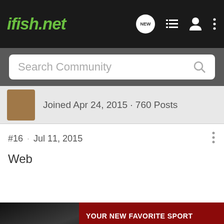ifish.net
Search Community
Joined Apr 24, 2015 · 760 Posts
#16 · Jul 11, 2015
Web
[Figure (photo): Advertisement banner: YOUR NEW FAVORITE SPORT – EXPLORE HOW TO RESPONSIBLY PARTICIPATE IN THE SHOOTING SPORTS. START HERE!]